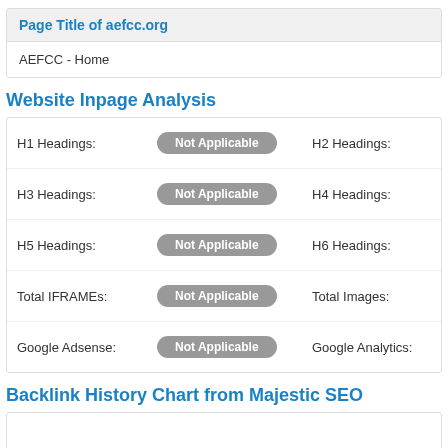Page Title of aefcc.org
AEFCC - Home
Website Inpage Analysis
| Label | Value | Label2 |
| --- | --- | --- |
| H1 Headings: | Not Applicable | H2 Headings: |
| H3 Headings: | Not Applicable | H4 Headings: |
| H5 Headings: | Not Applicable | H6 Headings: |
| Total IFRAMEs: | Not Applicable | Total Images: |
| Google Adsense: | Not Applicable | Google Analytics: |
Backlink History Chart from Majestic SEO
[Figure (other): Empty chart placeholder for backlink history]
Referring Domains Discovery Chart from Majestic SEO